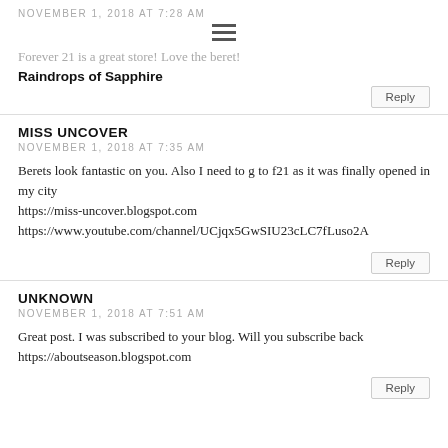NOVEMBER 1, 2018 AT 7:28 AM
Forever 21 is a great store! Love the beret!
Raindrops of Sapphire
Reply
MISS UNCOVER
NOVEMBER 1, 2018 AT 7:35 AM
Berets look fantastic on you. Also I need to g to f21 as it was finally opened in my city
https://miss-uncover.blogspot.com
https://www.youtube.com/channel/UCjqx5GwSIU23cLC7fLuso2A
Reply
UNKNOWN
NOVEMBER 1, 2018 AT 7:51 AM
Great post. I was subscribed to your blog. Will you subscribe back
https://aboutseason.blogspot.com
Reply